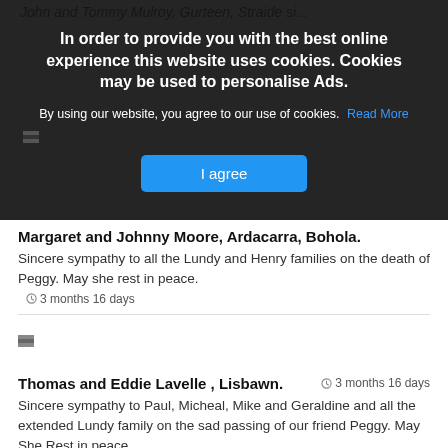John and Tommy Mulroy, Gurteen, Straide si...
[Figure (screenshot): Cookie consent overlay banner with dark background. Title: 'In order to provide you with the best online experience this website uses cookies. Cookies may be used to personalise Ads.' Body: 'By using our website, you agree to our use of cookies. Read More' and an 'I agree' blue button.]
Margaret and Johnny Moore, Ardacarra, Bohola.
Sincere sympathy to all the Lundy and Henry families on the death of Peggy. May she rest in peace. 3 months 16 days
Thomas and Eddie Lavelle , Lisbawn. 3 months 16 days
Sincere sympathy to Paul, Micheal, Mike and Geraldine and all the extended Lundy family on the sad passing of our friend Peggy. May She Rest in peace.